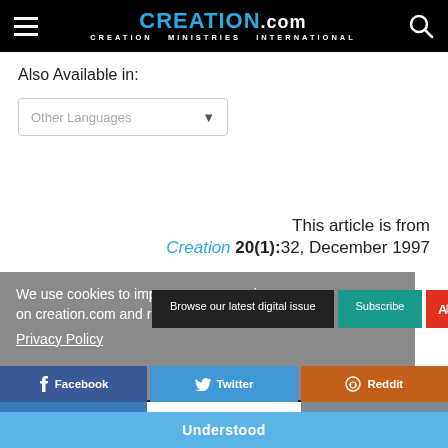CREATION.com CREATION MINISTRIES INTERNATIONAL
Also Available in:
Other Languages
This article is from Creation 20(1):32, December 1997
Browse our latest digital issue
Subscribe
We use cookies to improve your experience on creation.com and related sites.
Privacy Policy
Facebook
Twitter
Reddit
LinkedIn
Email
Understood